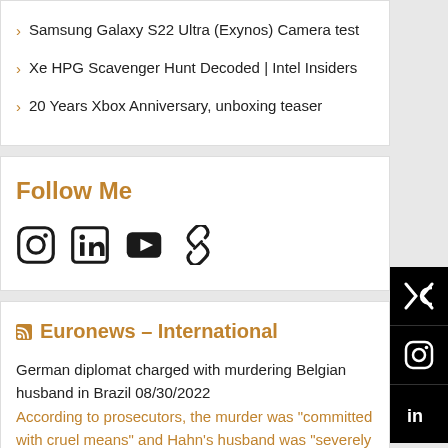Samsung Galaxy S22 Ultra (Exynos) Camera test
Xe HPG Scavenger Hunt Decoded | Intel Insiders
20 Years Xbox Anniversary, unboxing teaser
Follow Me
[Figure (other): Social media icons: Instagram, LinkedIn, YouTube, Link]
Euronews – International
German diplomat charged with murdering Belgian husband in Brazil 08/30/2022
According to prosecutors, the murder was "committed with cruel means" and Hahn's husband was "severely beaten, causing intense and unnecessary suffering".